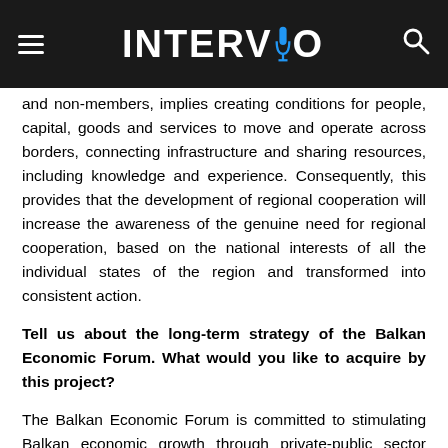INTERVIO
and non-members, implies creating conditions for people, capital, goods and services to move and operate across borders, connecting infrastructure and sharing resources, including knowledge and experience. Consequently, this provides that the development of regional cooperation will increase the awareness of the genuine need for regional cooperation, based on the national interests of all the individual states of the region and transformed into consistent action.
Tell us about the long-term strategy of the Balkan Economic Forum. What would you like to acquire by this project?
The Balkan Economic Forum is committed to stimulating Balkan economic growth through private-public sector collaboration.